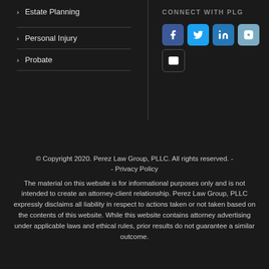Estate Planning
Personal Injury
Probate
CONNECT WITH PLG
[Figure (other): Social media icons: Facebook, Twitter, LinkedIn, Instagram, Email]
© Copyright 2020. Perez Law Group, PLLC. All rights reserved. - - Privacy Policy
The material on this website is for informational purposes only and is not intended to create an attorney-client relationship. Perez Law Group, PLLC expressly disclaims all liability in respect to actions taken or not taken based on the contents of this website. While this website contains attorney advertising under applicable laws and ethical rules, prior results do not guarantee a similar outcome.